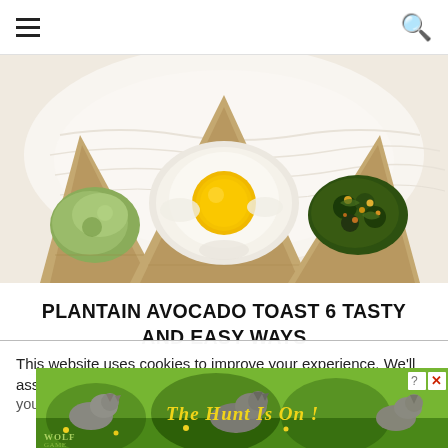☰  🔍
[Figure (photo): Three triangular toasts on a white plate: left toast topped with mashed avocado, center toast topped with a fried egg sunny-side up, right toast topped with sautéed spinach and spices]
PLANTAIN AVOCADO TOAST 6 TASTY AND EASY WAYS
This website uses cookies to improve your experience. We'll assume you're ...cept
[Figure (photo): Wolf Game advertisement banner showing wolves in a meadow with text 'The Hunt Is On!']